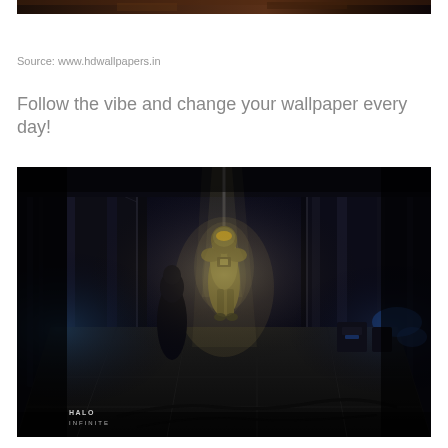[Figure (photo): Top partial view of a dark sci-fi game wallpaper (cropped, only bottom strip visible)]
Source: www.hdwallpapers.in
Follow the vibe and change your wallpaper every day!
[Figure (photo): Halo Infinite game wallpaper showing a dark spaceship corridor with an armored soldier (Master Chief) illuminated in the center, with 'HALO INFINITE' logo in the bottom-left corner]